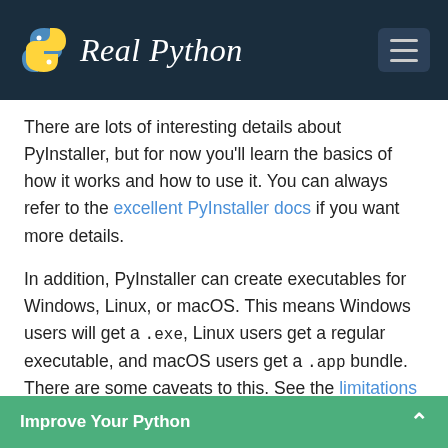Real Python
There are lots of interesting details about PyInstaller, but for now you'll learn the basics of how it works and how to use it. You can always refer to the excellent PyInstaller docs if you want more details.
In addition, PyInstaller can create executables for Windows, Linux, or macOS. This means Windows users will get a .exe, Linux users get a regular executable, and macOS users get a .app bundle. There are some caveats to this. See the limitations section for more information.
Preparing Your Project
Improve Your Python